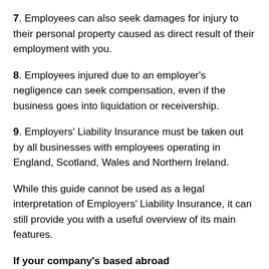7. Employees can also seek damages for injury to their personal property caused as direct result of their employment with you.
8. Employees injured due to an employer's negligence can seek compensation, even if the business goes into liquidation or receivership.
9. Employers' Liability Insurance must be taken out by all businesses with employees operating in England, Scotland, Wales and Northern Ireland.
While this guide cannot be used as a legal interpretation of Employers' Liability Insurance, it can still provide you with a useful overview of its main features.
If your company's based abroad